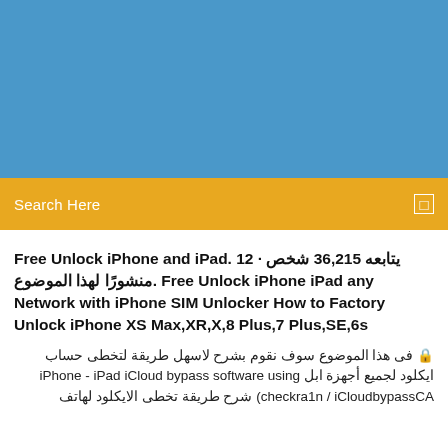[Figure (other): Blue header background banner area]
Search Here
Free Unlock iPhone and iPad. يتابعه 36,215 شخص · 12 منشورًا لهذا الموضوع. Free Unlock iPhone iPad any Network with iPhone SIM Unlocker How to Factory Unlock iPhone XS Max,XR,X,8 Plus,7 Plus,SE,6s
🔒 فى هذا الموضوع سوف نقوم بشرح لاسهل طريقة لتخطى حساب ايكلود لجميع أجهزة ابل iPhone - iPad iCloud bypass software using checkra1n / iCloudbypassCA شرح طريقة تخطى الايكلود لهاتف